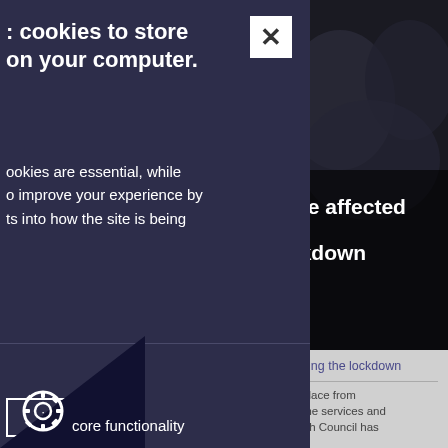[Figure (screenshot): Screenshot of a government council website with a cookie consent banner overlay on the left side (dark navy background), and the main website visible on the right showing a teal navigation header with MENU button, a dark hero image section with text about lockdown, and a grey content area below.]
cookies to store on your computer.
ookies are essential, while o improve your experience by ts into how the site is being
ies
pt Cookies
are affected ckdown
during the lockdown
in place from some services and ough Council has
core functionality
MENU